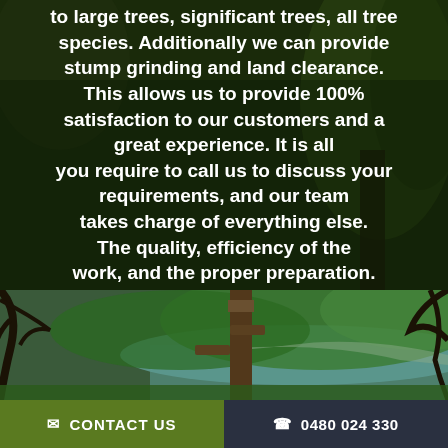to large trees, significant trees, all tree species. Additionally we can provide stump grinding and land clearance. This allows us to provide 100% satisfaction to our customers and a great experience. It is all you require to call us to discuss your requirements, and our team takes charge of everything else. The quality, efficiency of the work, and the proper preparation.
[Figure (photo): Outdoor nature photo showing a cut tree trunk with a lake and green hills in the background]
CONTACT US
0480 024 330